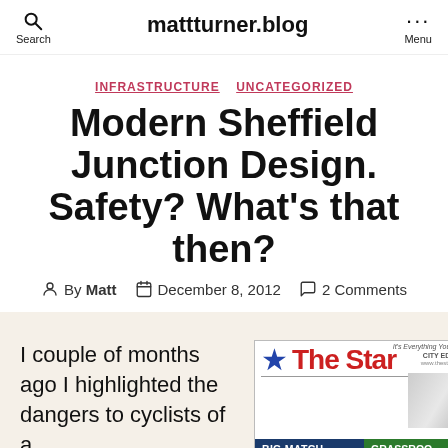mattturner.blog
INFRASTRUCTURE   UNCATEGORIZED
Modern Sheffield Junction Design. Safety? What's that then?
By Matt   December 8, 2012   2 Comments
I couple of months ago I highlighted the dangers to cyclists of a
[Figure (photo): Newspaper front page of 'The Star' showing 'BIG MATCH' and 'GrassRoo' headlines]